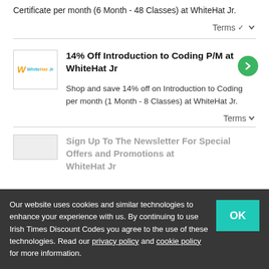Certificate per month (6 Month - 48 Classes) at WhiteHat Jr.
Terms
14% Off Introduction to Coding P/M at WhiteHat Jr
Shop and save 14% off on Introduction to Coding per month (1 Month - 8 Classes) at WhiteHat Jr.
Terms
Sign Up To The Newsletter For Special Offers and Promotions at WhiteHat Jr
Our website uses cookies and similar technologies to enhance your experience with us. By continuing to use Irish Times Discount Codes you agree to the use of these technologies. Read our privacy policy and cookie policy for more information.